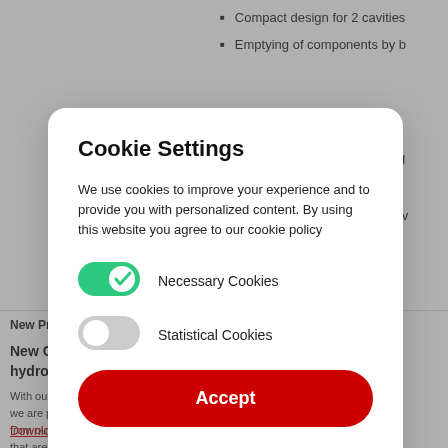Compact design for 2 cavities
Emptying of components by b
ing
le v
New Prod
New Ca hydrogen
With our m we are pr from our C that are pa hydrogen for the first time.
INCGINER compressors with two air drive parts
Download catalog
[Figure (screenshot): Cookie Settings modal dialog overlay on an engineering product page. The modal has a white rounded rectangle containing: title 'Cookie Settings', descriptive text about cookies, a green toggle for Necessary Cookies (enabled), a grey toggle for Statistical Cookies (disabled), a red Accept button, and a Change Settings text link.]